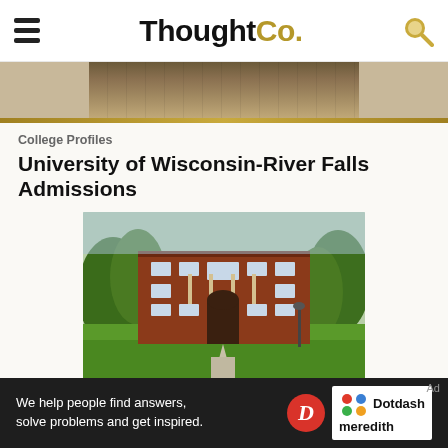ThoughtCo.
[Figure (photo): Partial top of a building photo cropped at the header]
[Figure (photo): University of Wisconsin-River Falls campus building - red brick three-story academic building with green lawn in front and trees]
College Profiles
University of Wisconsin-River Falls Admissions
[Figure (photo): Advertisement banner: We help people find answers, solve problems and get inspired. Dotdash meredith logo]